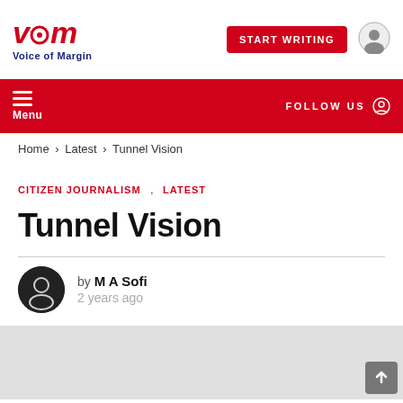VOM Voice of Margin | START WRITING
Menu | FOLLOW US
Home › Latest › Tunnel Vision
CITIZEN JOURNALISM , LATEST
Tunnel Vision
by M A Sofi
2 years ago
[Figure (photo): Light gray placeholder image for article]